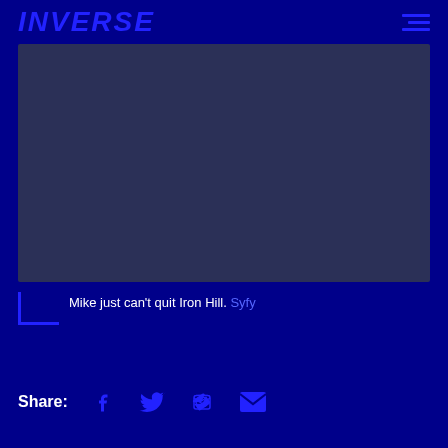INVERSE
[Figure (photo): Dark blue-grey hero image placeholder, representing a video/image area related to the article about Mike and Iron Hill on Syfy.]
Mike just can't quit Iron Hill. Syfy
Share: